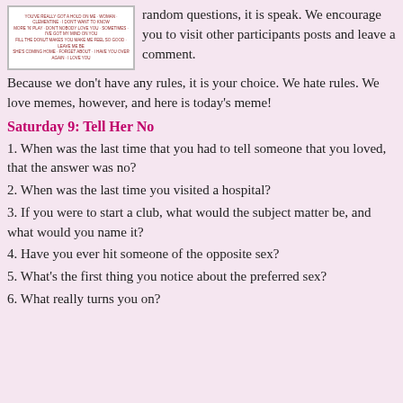[Figure (photo): A meme image with small red text on white background containing phrases about relationships]
random questions, it is speak. We encourage you to visit other participants posts and leave a comment.
Because we don't have any rules, it is your choice. We hate rules. We love memes, however, and here is today's meme!
Saturday 9: Tell Her No
1. When was the last time that you had to tell someone that you loved, that the answer was no?
2. When was the last time you visited a hospital?
3. If you were to start a club, what would the subject matter be, and what would you name it?
4. Have you ever hit someone of the opposite sex?
5. What's the first thing you notice about the preferred sex?
6. What really turns you on?